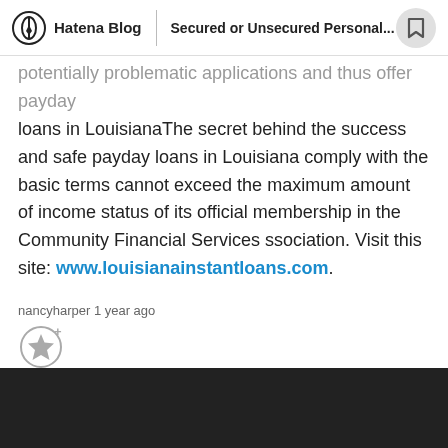Hatena Blog | Secured or Unsecured Personal...
potentially problematic applications and thus offer payday loans in LouisianaThe secret behind the success and safe payday loans in Louisiana comply with the basic terms cannot exceed the maximum amount of income status of its official membership in the Community Financial Services ssociation. Visit this site: www.louisianainstantloans.com.
nancyharper 1 year ago